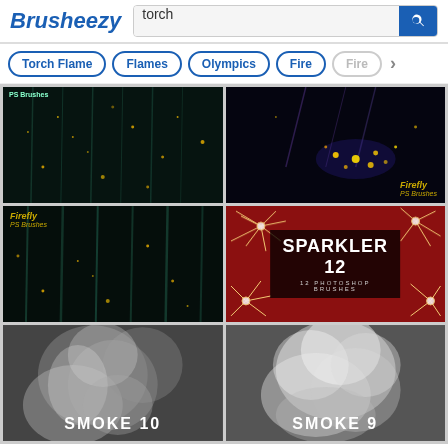Brusheezy — search: torch
Torch Flame
Flames
Olympics
Fire
Fire >
[Figure (screenshot): Dark background with glowing particles falling — PS Brushes label top-left]
[Figure (screenshot): Dark background with purple/gold firefly lights — Firefly PS Brushes label bottom-right]
[Figure (screenshot): Dark forest with firefly particles — Firefly PS Brushes label top-left]
[Figure (screenshot): Red background with sparkler burst — SPARKLER 12, 12 Photoshop Brushes]
[Figure (screenshot): Smoke swirls on dark background — SMOKE 10 label]
[Figure (screenshot): Smoke swirls on dark background — SMOKE 9 label]